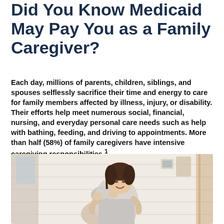Did You Know Medicaid May Pay You as a Family Caregiver?
Each day, millions of parents, children, siblings, and spouses selflessly sacrifice their time and energy to care for family members affected by illness, injury, or disability. Their efforts help meet numerous social, financial, nursing, and everyday personal care needs such as help with bathing, feeding, and driving to appointments. More than half (58%) of family caregivers have intensive caregiving responsibilities.¹
[Figure (photo): A smiling young woman caregiver standing behind an elderly woman, both appearing happy in a home setting with white brick walls]